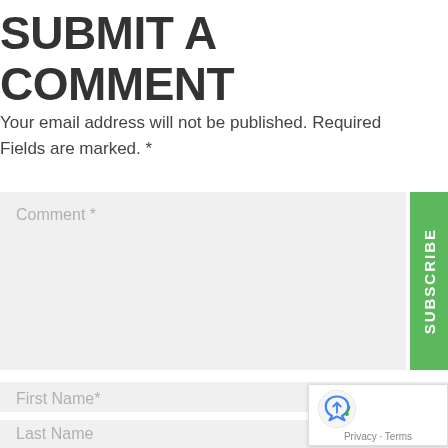SUBMIT A COMMENT
Your email address will not be published. Required Fields are marked. *
Comment *
SUBSCRIBE
First Name*
Last Name
Privacy · Terms